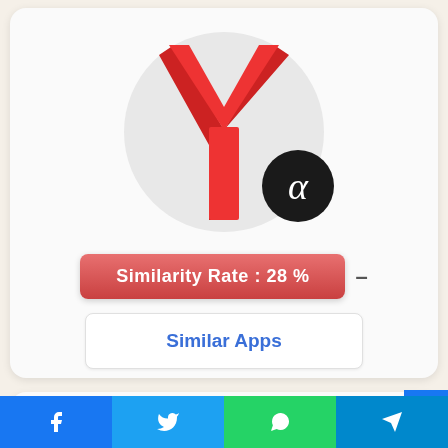[Figure (logo): Yandex Alpha app icon: grey circle with red Y letter, black circle badge with white alpha symbol]
Similarity Rate : 28 %
Similar Apps
48. Tanger Outlets
What could be more fun than spending the day
[Figure (screenshot): Social media share bar with Facebook, Twitter, WhatsApp, and Telegram icons]